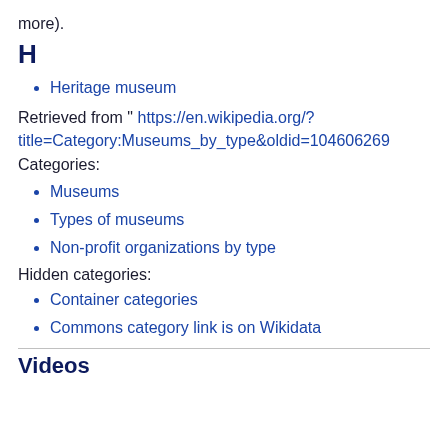more).
H
Heritage museum
Retrieved from " https://en.wikipedia.org/?title=Category:Museums_by_type&oldid=104606269
Categories:
Museums
Types of museums
Non-profit organizations by type
Hidden categories:
Container categories
Commons category link is on Wikidata
Videos